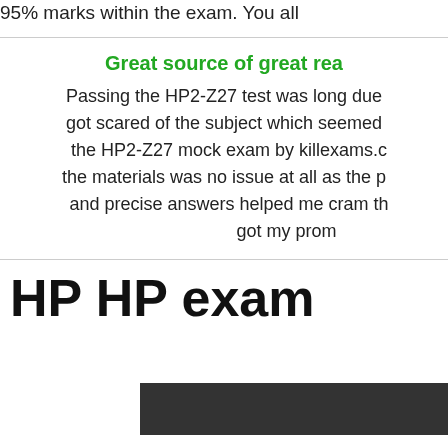95% marks within the exam. You all
Great source of great rea
Passing the HP2-Z27 test was long due got scared of the subject which seemed the HP2-Z27 mock exam by killexams.c the materials was no issue at all as the p and precise answers helped me cram th got my prom
HP HP exam
[Figure (other): Dark gray rectangle at bottom right of page]